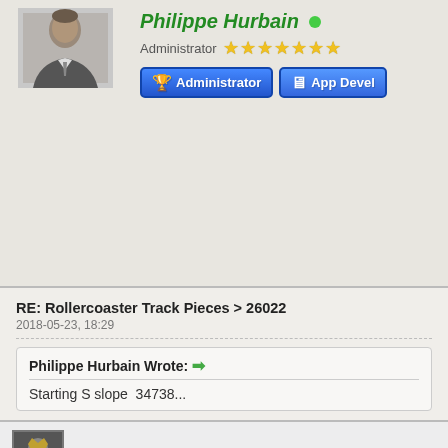[Figure (photo): Profile avatar photo of Philippe Hurbain, a man in a suit, grayscale]
Philippe Hurbain ● (online)
Administrator ★★★★★★★
[Figure (infographic): Blue badge buttons: Administrator and App Developer]
RE: Rollercoaster Track Pieces > 26022
2018-05-23, 18:29
Philippe Hurbain Wrote: → Starting S slope  34738...
Now on parts tracker, doing 26559/26560
Website  Find
Magnus Forsberg ●